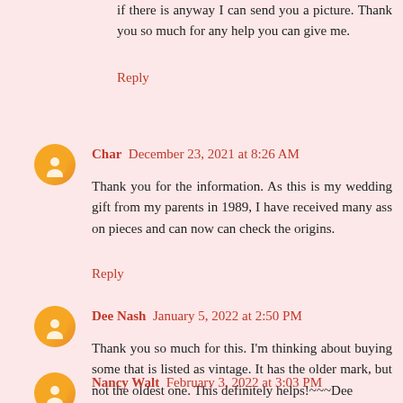if there is anyway I can send you a picture. Thank you so much for any help you can give me.
Reply
Char  December 23, 2021 at 8:26 AM
Thank you for the information. As this is my wedding gift from my parents in 1989, I have received many ass on pieces and can now can check the origins.
Reply
Dee Nash  January 5, 2022 at 2:50 PM
Thank you so much for this. I'm thinking about buying some that is listed as vintage. It has the older mark, but not the oldest one. This definitely helps!~~~Dee
Reply
Nancy Walt  February 3, 2022 at 3:03 PM